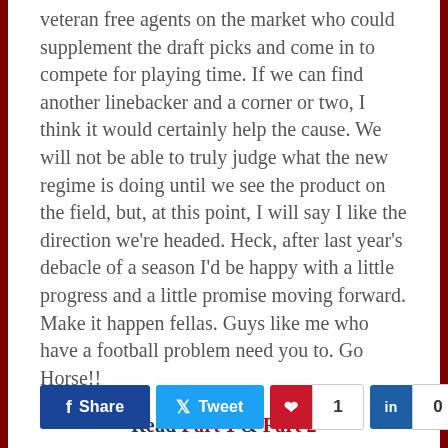veteran free agents on the market who could supplement the draft picks and come in to compete for playing time. If we can find another linebacker and a corner or two, I think it would certainly help the cause. We will not be able to truly judge what the new regime is doing until we see the product on the field, but, at this point, I will say I like the direction we're headed. Heck, after last year's debacle of a season I'd be happy with a little progress and a little promise moving forward. Make it happen fellas. Guys like me who have a football problem need you to. Go Horse!!
— Read Part 1 & Part 2 —
[Figure (other): Social sharing buttons: Facebook Share, Twitter Tweet, Pinterest with count 1, LinkedIn with count 0]